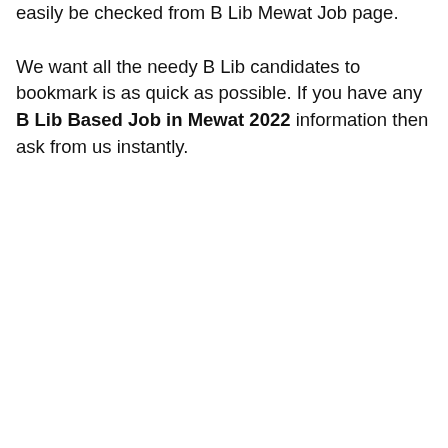easily be checked from B Lib Mewat Job page. We want all the needy B Lib candidates to bookmark is as quick as possible. If you have any B Lib Based Job in Mewat 2022 information then ask from us instantly.